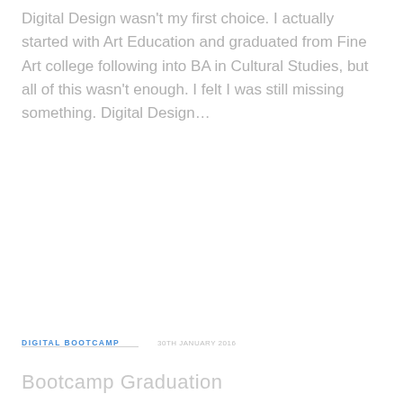Digital Design wasn't my first choice. I actually started with Art Education and graduated from Fine Art college following into BA in Cultural Studies, but all of this wasn't enough. I felt I was still missing something. Digital Design…
DIGITAL BOOTCAMP
Bootcamp Graduation